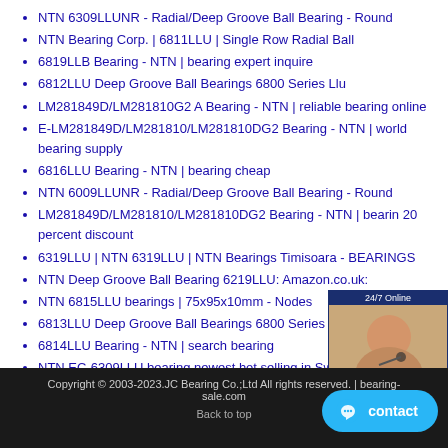NTN 6309LLUNR - Radial/Deep Groove Ball Bearing - Round
NTN Bearing Corp. | 6811LLU | Single Row Radial Ball
6819LLB Bearing - NTN | bearing expert inquire
6812LLU Deep Groove Ball Bearings 6800 Series Llu
LM281849D/LM281810G2 A Bearing - NTN | reliable bearing online
E-LM281849D/LM281810/LM281810DG2 Bearing - NTN | world bearing supply
6816LLU Bearing - NTN | bearing cheap
NTN 6009LLUNR - Radial/Deep Groove Ball Bearing - Round
LM281849D/LM281810/LM281810DG2 Bearing - NTN | bearing 20 percent discount
6319LLU | NTN 6319LLU | NTN Bearings Timisoara - BEARINGS
NTN Deep Groove Ball Bearing 6219LLU: Amazon.co.uk:
NTN 6815LLU bearings | 75x95x10mm - Nodes
6813LLU Deep Groove Ball Bearings 6800 Series Llu
6814LLU Bearing - NTN | search bearing
NTN EC-6309LLU bearing newest hot selling in Sweden
[Figure (other): Customer service advertisement widget with photo of woman wearing headset, 24/7 Online label, quotation button]
Copyright © 2003-2023.JC Bearing Co.;Ltd All rights reserved. | bearing-sale.com
Back to top